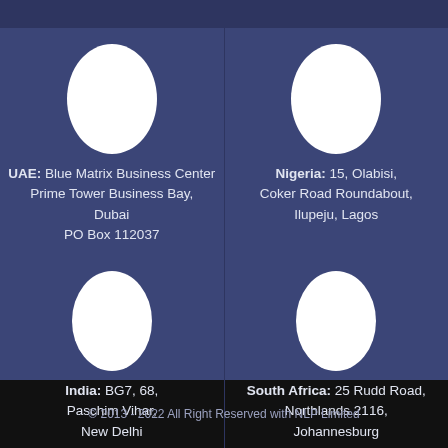UAE: Blue Matrix Business Center Prime Tower Business Bay, Dubai PO Box 112037
Nigeria: 15, Olabisi, Coker Road Roundabout, Ilupeju, Lagos
India: BG7, 68, Paschim Vihar, New Delhi
South Africa: 25 Rudd Road, Northlands 2116, Johannesburg
© 2013 - 2022 All Right Reserved with NLP Limited